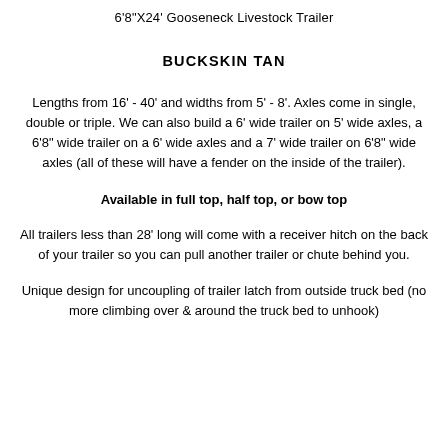6'8"X24' Gooseneck Livestock Trailer
BUCKSKIN TAN
Lengths from 16' - 40' and widths from 5' - 8'. Axles come in single, double or triple. We can also build a 6' wide trailer on 5' wide axles, a 6'8" wide trailer on a 6' wide axles and a 7' wide trailer on 6'8" wide axles (all of these will have a fender on the inside of the trailer).
Available in full top, half top, or bow top
All trailers less than 28' long will come with a receiver hitch on the back of your trailer so you can pull another trailer or chute behind you.
Unique design for uncoupling of trailer latch from outside truck bed (no more climbing over & around the truck bed to unhook)